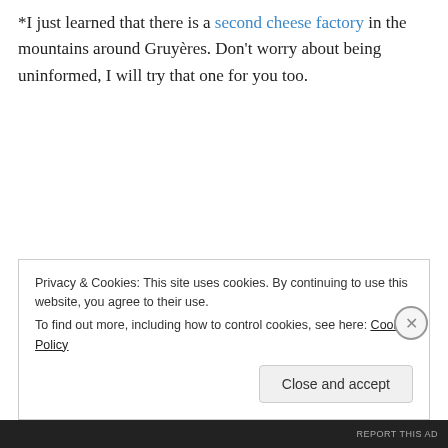*I just learned that there is a second cheese factory in the mountains around Gruyères. Don't worry about being uninformed, I will try that one for you too.
Privacy & Cookies: This site uses cookies. By continuing to use this website, you agree to their use.
To find out more, including how to control cookies, see here: Cookie Policy
REPORT THIS AD